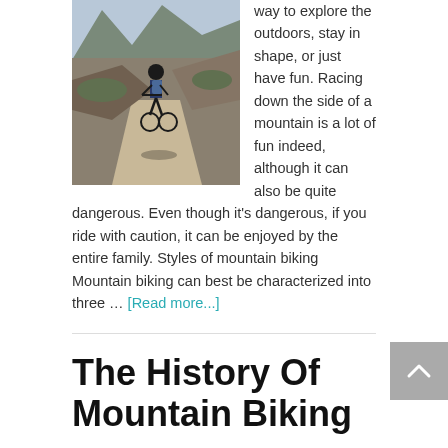[Figure (photo): Mountain biker riding down a rocky mountain trail with mountains in background]
way to explore the outdoors, stay in shape, or just have fun. Racing down the side of a mountain is a lot of fun indeed, although it can also be quite dangerous. Even though it's dangerous, if you ride with caution, it can be enjoyed by the entire family. Styles of mountain biking Mountain biking can best be characterized into three … [Read more...]
The History Of Mountain Biking
[Figure (photo): Close-up of a mountain biker wearing a helmet against blue sky]
There is a lot of history and